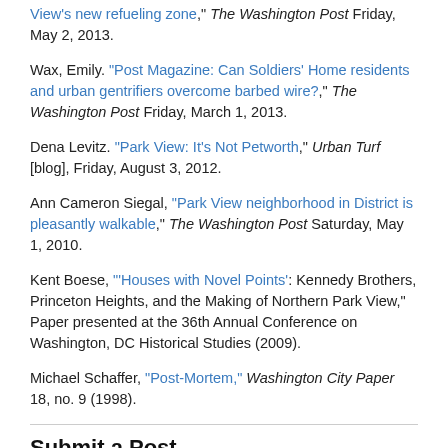View's new refueling zone," The Washington Post Friday, May 2, 2013.
Wax, Emily. "Post Magazine: Can Soldiers' Home residents and urban gentrifiers overcome barbed wire?," The Washington Post Friday, March 1, 2013.
Dena Levitz. "Park View: It's Not Petworth," Urban Turf [blog], Friday, August 3, 2012.
Ann Cameron Siegal, "Park View neighborhood in District is pleasantly walkable," The Washington Post Saturday, May 1, 2010.
Kent Boese, "'Houses with Novel Points': Kennedy Brothers, Princeton Heights, and the Making of Northern Park View," Paper presented at the 36th Annual Conference on Washington, DC Historical Studies (2009).
Michael Schaffer, "Post-Mortem," Washington City Paper 18, no. 9 (1998).
Submit a Post